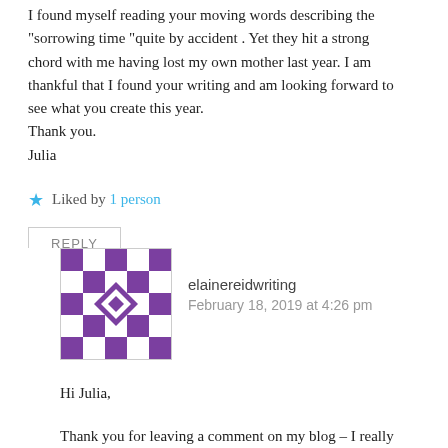I found myself reading your moving words describing the “sorrowing time “quite by accident . Yet they hit a strong chord with me having lost my own mother last year. I am thankful that I found your writing and am looking forward to see what you create this year.
Thank you.
Julia
★ Liked by 1 person
REPLY
elainereidwriting
February 18, 2019 at 4:26 pm
Hi Julia,
Thank you for leaving a comment on my blog – I really appreciate the feedback and am glad that this piece spoke so strongly to you. I hope it also brought some comfort. With warmest wishes, Elaine.